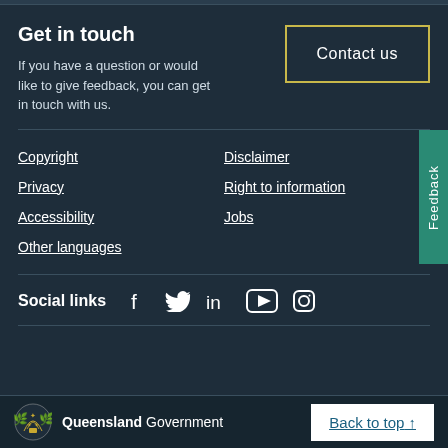Get in touch
If you have a question or would like to give feedback, you can get in touch with us.
Contact us
Copyright
Privacy
Accessibility
Other languages
Disclaimer
Right to information
Jobs
Feedback
Social links
[Figure (infographic): Social media icons: Facebook, Twitter, LinkedIn, YouTube, Instagram]
Queensland Government — Back to top